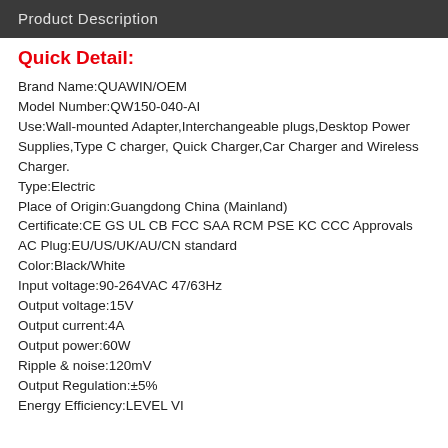Product Description
Quick Detail:
Brand Name:QUAWIN/OEM
Model Number:QW150-040-AI
Use:Wall-mounted Adapter,Interchangeable plugs,Desktop Power Supplies,Type C charger, Quick Charger,Car Charger and Wireless Charger.
Type:Electric
Place of Origin:Guangdong China (Mainland)
Certificate:CE GS UL CB FCC SAA RCM PSE KC CCC Approvals
AC Plug:EU/US/UK/AU/CN standard
Color:Black/White
Input voltage:90-264VAC 47/63Hz
Output voltage:15V
Output current:4A
Output power:60W
Ripple & noise:120mV
Output Regulation:±5%
Energy Efficiency:LEVEL VI